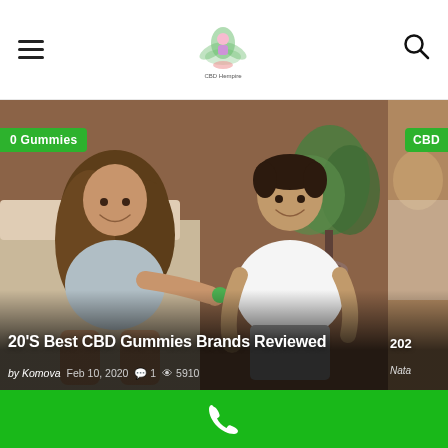CBD Hempire website header with hamburger menu, logo, and search icon
[Figure (screenshot): Photo of a smiling woman with long brown hair and a man in white t-shirt sitting on a bed, sharing CBD gummies. Brown-toned room with green plant in background. Left partial green badge reads '0 Gummies'. Right partial green badge reads 'CBD'.]
20'S Best CBD Gummies Brands Reviewed
by Komova  Feb 10, 2020  💬 1  👁 5910
202
Nata
[Figure (other): Green bottom bar with white phone/call icon in center]